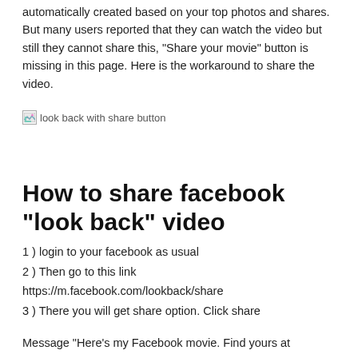automatically created based on your top photos and shares.  But many users reported that they can watch the video but still they cannot share this,  “Share your movie” button is missing in this page. Here is the workaround to share the video.
[Figure (photo): Broken image placeholder with alt text: look back with share button]
How to share facebook “look back” video
1 ) login to your facebook as usual
2 ) Then go to this link https://m.facebook.com/lookback/share
3 ) There you will get share option. Click share
Message  “Here’s my Facebook movie. Find yours at http://facebook.com/lookback/ #FacebookIs10”